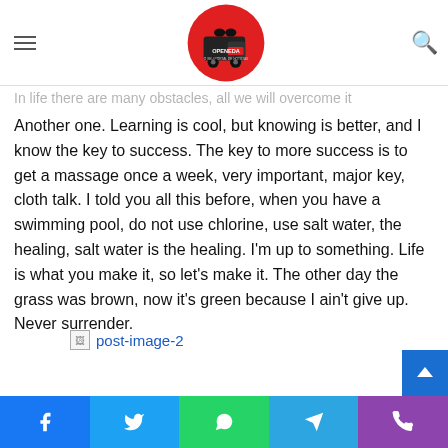OPENEDA - O SEU PORTAL DE NOTÍCIAS
Success is how high you bounce when you hit the bottom
In life there are many obstacles, all we will overcome it
Another one. Learning is cool, but knowing is better, and I know the key to success. The key to more success is to get a massage once a week, very important, major key, cloth talk. I told you all this before, when you have a swimming pool, do not use chlorine, use salt water, the healing, salt water is the healing. I'm up to something. Life is what you make it, so let's make it. The other day the grass was brown, now it's green because I ain't give up. Never surrender.
[Figure (other): Broken image placeholder labeled post-image-2]